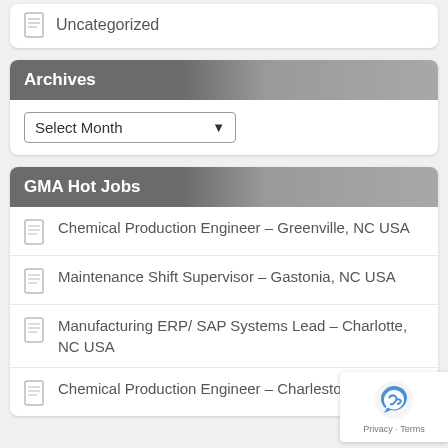Uncategorized
Archives
Select Month
GMA Hot Jobs
Chemical Production Engineer – Greenville, NC USA
Maintenance Shift Supervisor – Gastonia, NC USA
Manufacturing ERP/ SAP Systems Lead – Charlotte, NC USA
Chemical Production Engineer – Charleston, USA